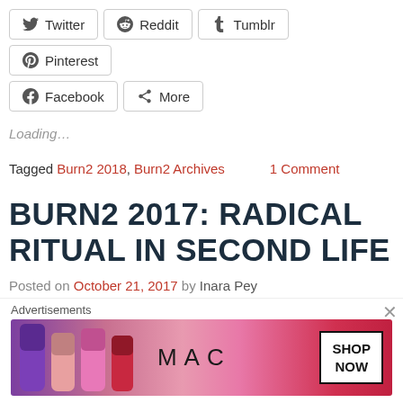[Figure (screenshot): Social share buttons row 1: Twitter, Reddit, Tumblr, Pinterest]
[Figure (screenshot): Social share buttons row 2: Facebook, More]
Loading…
Tagged Burn2 2018, Burn2 Archives    1 Comment
BURN2 2017: RADICAL RITUAL IN SECOND LIFE
Posted on October 21, 2017 by Inara Pey
[Figure (photo): Dark banner image, partially visible]
Advertisements
[Figure (screenshot): MAC cosmetics advertisement with lipsticks and SHOP NOW button]